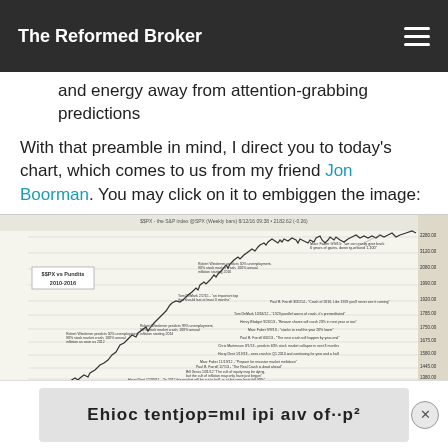The Reformed Broker
and energy away from attention-grabbing predictions
With that preamble in mind, I direct you to today's chart, which comes to us from my friend Jon Boorman. You may click on it to embiggen the image:
[Figure (line-chart): S&P 500 index vs Pundits chart 2010-2016, showing annotated line chart of S&P 500 weekly prices with various analyst crash predictions labeled alongside the rising market line. Labels include Marc Faber, Robert Wiedemer, Tom DeMark, Harry Dent, Paul B. Farrell, Bill Gross, Chris Martenson, Marc Faber, Henry Blodget, and others.]
Ehioc tentjop=mıl ipi aıv of-·p²